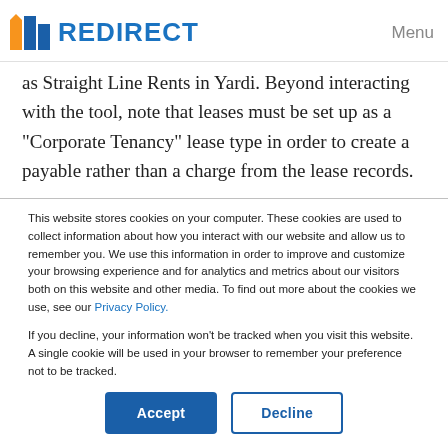REDIRECT | Menu
as Straight Line Rents in Yardi. Beyond interacting with the tool, note that leases must be set up as a “Corporate Tenancy” lease type in order to create a payable rather than a charge from the lease records.
This website stores cookies on your computer. These cookies are used to collect information about how you interact with our website and allow us to remember you. We use this information in order to improve and customize your browsing experience and for analytics and metrics about our visitors both on this website and other media. To find out more about the cookies we use, see our Privacy Policy.
If you decline, your information won’t be tracked when you visit this website. A single cookie will be used in your browser to remember your preference not to be tracked.
Accept | Decline